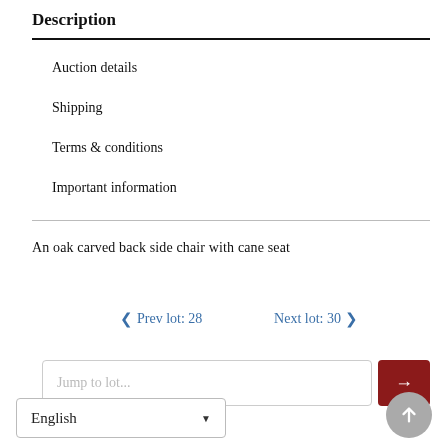Description
Auction details
Shipping
Terms & conditions
Important information
An oak carved back side chair with cane seat
< Prev lot: 28    Next lot: 30 >
Jump to lot...
English